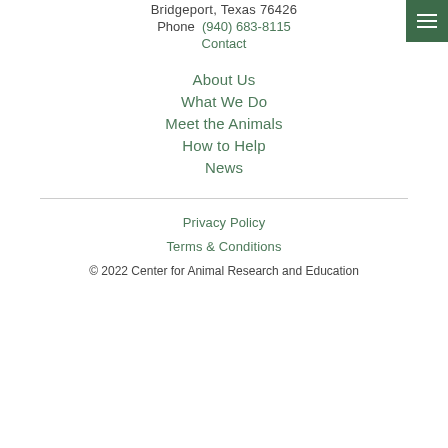Bridgeport, Texas 76426
Phone  (940) 683-8115
Contact
About Us
What We Do
Meet the Animals
How to Help
News
Privacy Policy
Terms & Conditions
© 2022 Center for Animal Research and Education